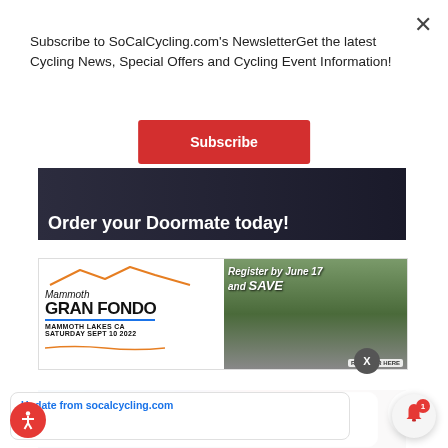Subscribe to SoCalCycling.com's NewsletterGet the latest Cycling News, Special Offers and Cycling Event Information!
Subscribe
[Figure (photo): Doormate product banner with dark background showing a cycling-related device and text 'Order your Doormate today!']
[Figure (photo): Mammoth Gran Fondo event banner - Mammoth Lakes CA, Saturday Sept 10 2022, Register by June 17 and SAVE]
Update from socalcycling.com
s ago
PAC RIMS